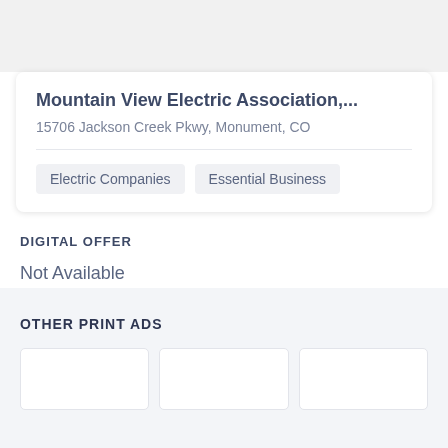Mountain View Electric Association,...
15706 Jackson Creek Pkwy, Monument, CO
Electric Companies
Essential Business
DIGITAL OFFER
Not Available
OTHER PRINT ADS